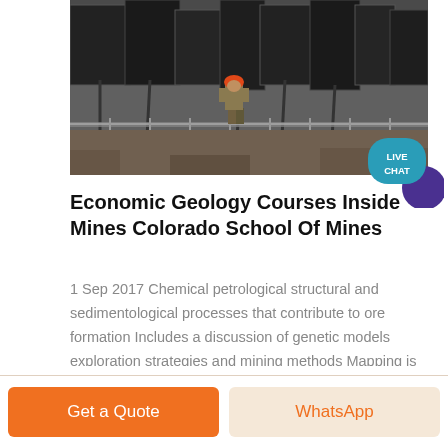[Figure (photo): Mining machinery and equipment at a mine site. A worker wearing a red hard hat is visible in the center foreground. Heavy industrial equipment and metal structures fill the background.]
Economic Geology Courses Inside Mines Colorado School Of Mines
1 Sep 2017 Chemical petrological structural and sedimentological processes that contribute to ore formation Includes a discussion of genetic models exploration strategies and mining methods Mapping is conducted both underground at the Edgar Test Mine and above ground in the Idaho Springs area ...
Get a Quote
WhatsApp